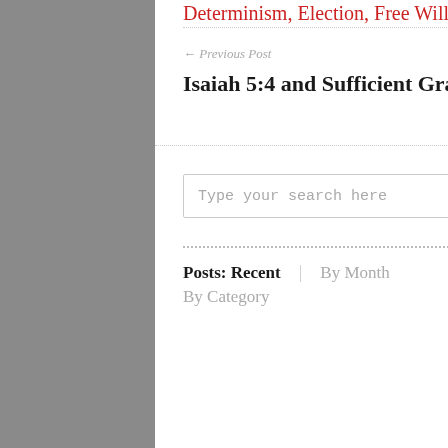Determinism, Election, Free Will, Grace, Predestination, Sayers. Doug.
← Previous Post
Isaiah 5:4 and Sufficient Grace
Next Post →
"'Traditional' Southern Baptists Counter Calvinism"
Type your search here
Posts: Recent | By Month
By Category